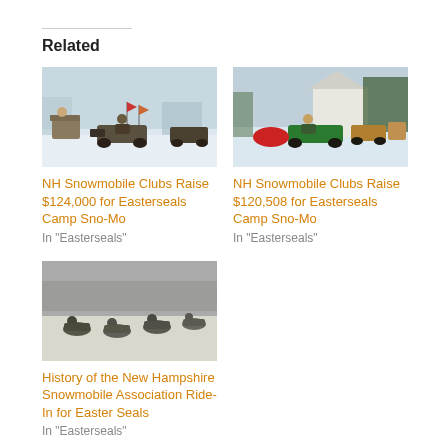Related
[Figure (photo): Snowmobile riders on snowy ground, one person sitting in an armchair on a sled]
NH Snowmobile Clubs Raise $124,000 for Easterseals Camp Sno-Mo
In "Easterseals"
[Figure (photo): Snowmobilers riding in a snowy area near a white building]
NH Snowmobile Clubs Raise $120,508 for Easterseals Camp Sno-Mo
In "Easterseals"
[Figure (photo): Black and white photo of snowmobilers riding across a snowy field]
History of the New Hampshire Snowmobile Association Ride-In for Easter Seals
In "Easterseals"